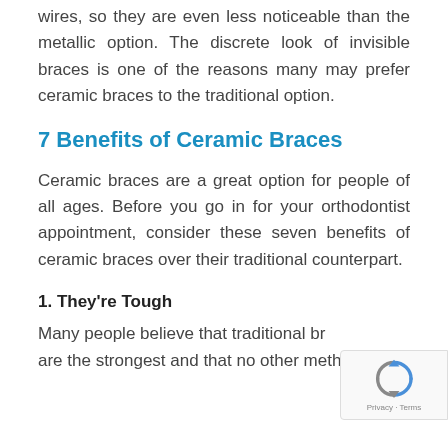wires, so they are even less noticeable than the metallic option. The discrete look of invisible braces is one of the reasons many may prefer ceramic braces to the traditional option.
7 Benefits of Ceramic Braces
Ceramic braces are a great option for people of all ages. Before you go in for your orthodontist appointment, consider these seven benefits of ceramic braces over their traditional counterpart.
1. They're Tough
Many people believe that traditional br... are the strongest and that no other method